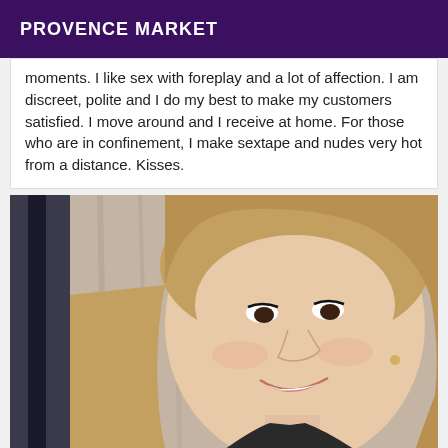PROVENCE MARKET
moments. I like sex with foreplay and a lot of affection. I am discreet, polite and I do my best to make my customers satisfied. I move around and I receive at home. For those who are in confinement, I make sextape and nudes very hot from a distance. Kisses.
[Figure (photo): Smiling blonde woman with wavy hair taking a selfie indoors, wearing a dark turtleneck, light background with curtains visible.]